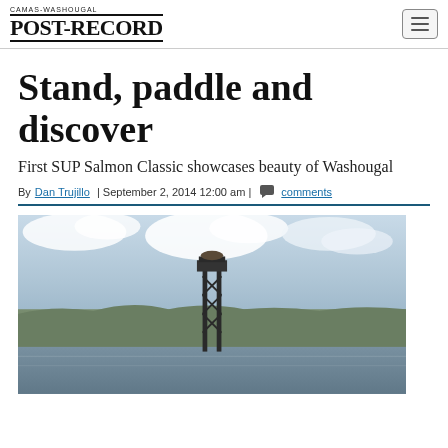CAMAS-WASHOUGAL POST-RECORD
Stand, paddle and discover
First SUP Salmon Classic showcases beauty of Washougal
By Dan Trujillo | September 2, 2014 12:00 am | comments
[Figure (photo): Outdoor photograph showing a tall dark lattice tower structure near a waterfront, with forested hills in the background and a cloudy sky above.]